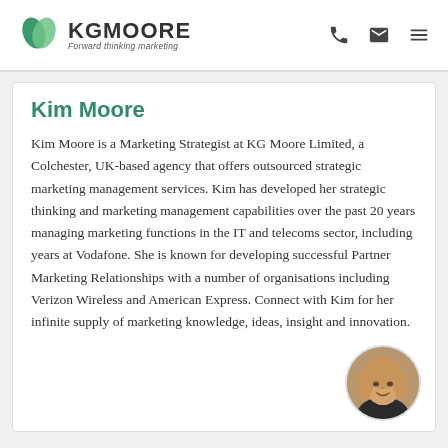KG MOORE — Forward thinking marketing
Kim Moore
Kim Moore is a Marketing Strategist at KG Moore Limited, a Colchester, UK-based agency that offers outsourced strategic marketing management services. Kim has developed her strategic thinking and marketing management capabilities over the past 20 years managing marketing functions in the IT and telecoms sector, including years at Vodafone. She is known for developing successful Partner Marketing Relationships with a number of organisations including Verizon Wireless and American Express. Connect with Kim for her infinite supply of marketing knowledge, ideas, insight and innovation.
[Figure (photo): Circular profile photo of a blonde woman (Kim Moore) in the bottom-right corner of the bio card]